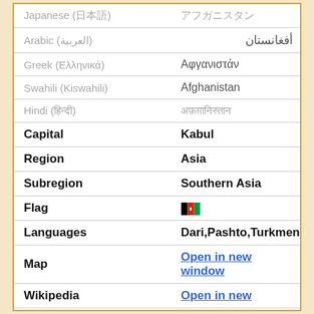| Language | Name |
| --- | --- |
| Japanese (日本語) | アフガニスタン |
| Arabic (العربية) | أفغانستان |
| Greek (Ελληνικά) | Αφγανιστάν |
| Swahili (Kiswahili) | Afghanistan |
| Hindi (हिन्दी) | अफ़ग़ानिस्तान |
| Capital | Kabul |
| Region | Asia |
| Subregion | Southern Asia |
| Flag |  |
| Languages | Dari,Pashto,Turkmen |
| Map | Open in new window |
| Wikipedia | Open in new |